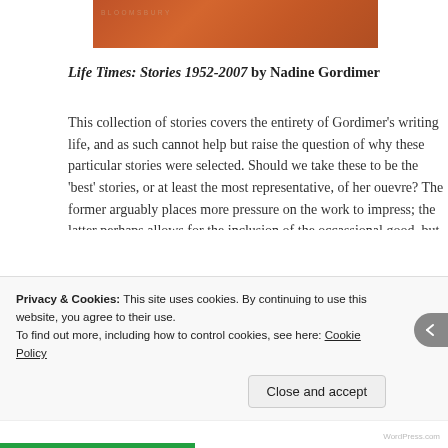[Figure (photo): Top portion of a book cover with orange/terracotta background and faint text]
Life Times: Stories 1952-2007 by Nadine Gordimer
This collection of stories covers the entirety of Gordimer’s writing life, and as such cannot help but raise the question of why these particular stories were selected. Should we take these to be the ‘best’ stories, or at least the most representative, of her ouevre? The former arguably places more pressure on the work to impress; the latter perhaps allows for the inclusion of the occassional good, but not excellent, story in the name of variety. In terms of the range of the stories, most of the early work takes place in South Africa or surrounding countries, and primarily deals with the complexities and moral ambiguities of people living under apartheid, whilst the latter stories, written in the 1980s and after, are more
Privacy & Cookies: This site uses cookies. By continuing to use this website, you agree to their use.
To find out more, including how to control cookies, see here: Cookie Policy
Close and accept